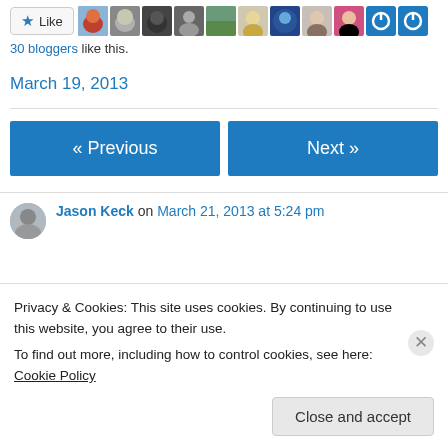[Figure (other): Like button with star icon followed by a strip of 11 user avatar thumbnails]
30 bloggers like this.
March 19, 2013
[Figure (other): Navigation buttons: « Previous and Next »]
Jason Keck on March 21, 2013 at 5:24 pm
Privacy & Cookies: This site uses cookies. By continuing to use this website, you agree to their use.
To find out more, including how to control cookies, see here: Cookie Policy
Close and accept